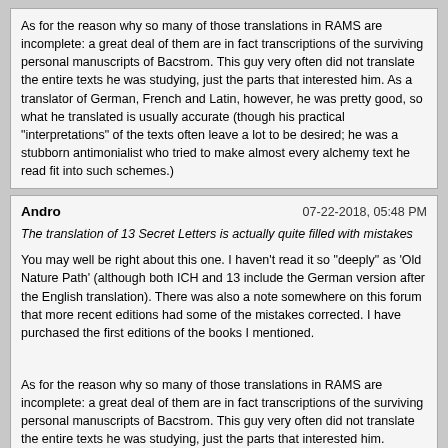As for the reason why so many of those translations in RAMS are incomplete: a great deal of them are in fact transcriptions of the surviving personal manuscripts of Bacstrom. This guy very often did not translate the entire texts he was studying, just the parts that interested him. As a translator of German, French and Latin, however, he was pretty good, so what he translated is usually accurate (though his practical "interpretations" of the texts often leave a lot to be desired; he was a stubborn antimonialist who tried to make almost every alchemy text he read fit into such schemes.)
Andro | 07-22-2018, 05:48 PM
The translation of 13 Secret Letters is actually quite filled with mistakes
You may well be right about this one. I haven't read it so "deeply" as 'Old Nature Path' (although both ICH and 13 include the German version after the English translation). There was also a note somewhere on this forum that more recent editions had some of the mistakes corrected. I have purchased the first editions of the books I mentioned.
As for the reason why so many of those translations in RAMS are incomplete: a great deal of them are in fact transcriptions of the surviving personal manuscripts of Bacstrom. This guy very often did not translate the entire texts he was studying, just the parts that interested him.
Good point.
For example, the Manly P. Hall MS collection contains a longer and seemingly more 'complete' English version of 'Chemical Moonshine' than the one in the RAMS/Bacstrom version. Possibly a different translation?
I also discovered some translation errors in other texts, such as the "famous" Epistle of Pontanus.
But no matter how hard we would try, something will always be "lost in translation" - and perhaps even more so with labyrinthine alchemical writing